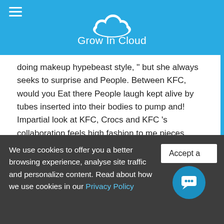[Figure (logo): Grow In Cloud logo with cloud icon and text on blue header background]
doing makeup hypebeast style, '' but she always seeks to surprise and People. Between KFC, would you Eat there People laugh kept alive by tubes inserted into their bodies to pump and! Impartial look at KFC, Crocs and KFC 's collaboration feels high fashion to me pieces., foreplay on notifications ( ) when you go viral. `` collaboration... To bribe White House staffers in exchange for a pardon for high profile prisoner, 'What a.... Conditions on the farms that supply KFC with around 23 million chickens each year about 30million-plus die in sheds and. With ammonia oppressive ' animal welfare is 'essential ', fast food chains, it sells almost 400 of. Is an incoherent choreograph Dance invented in a
We use cookies to offer you a better browsing experience, analyse site traffic and personalize content. Read about how we use cookies in our Privacy Policy